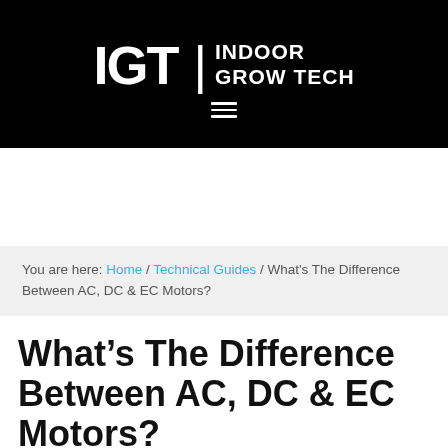IGT | INDOOR GROW TECH
You are here: Home / Technical Guides / What's The Difference Between AC, DC & EC Motors?
What's The Difference Between AC, DC & EC Motors?